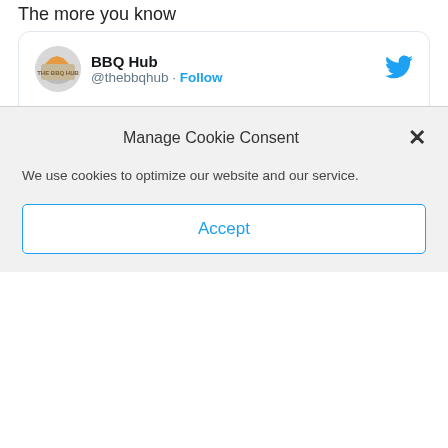The more you know
[Figure (screenshot): Embedded tweet from BBQ Hub (@thebbqhub) with Follow link and Twitter bird icon. Tweet text: 'Who invented Brunswick stew? Many states claim it but history is on the side of Virginia as the true originator'. Includes a link card for bbqhub.net titled 'Brunswick Stew: A Primer'.]
Manage Cookie Consent
We use cookies to optimize our website and our service.
Accept